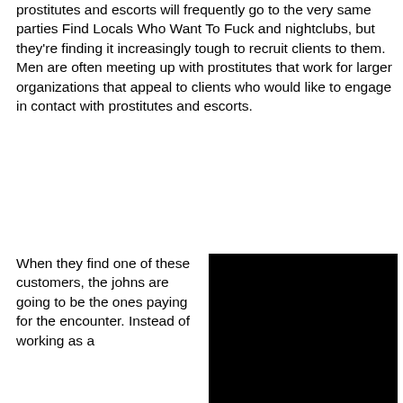prostitutes and escorts will frequently go to the very same parties Find Locals Who Want To Fuck and nightclubs, but they're finding it increasingly tough to recruit clients to them. Men are often meeting up with prostitutes that work for larger organizations that appeal to clients who would like to engage in contact with prostitutes and escorts.
When they find one of these customers, the johns are going to be the ones paying for the encounter. Instead of working as a
[Figure (photo): A solid black rectangular image]